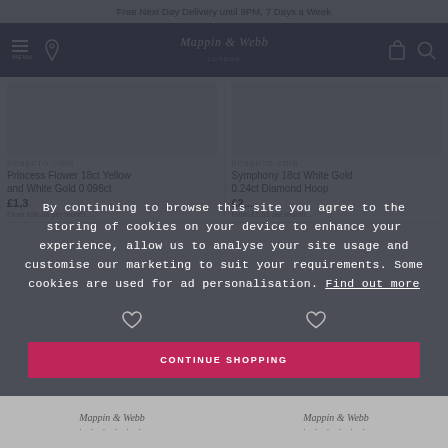Free Next Day Delivery until 9PM, 7 Days a Week
[Figure (logo): Mappin & Webb London logo in white on navy navigation bar with hamburger menu, location pin, shopping bag and search icons]
[Figure (photo): Product image placeholder for Princess Flower 18ct Yellow and White Gold 0.096ct earrings]
ROBERTO COIN
Princess Flower 18ct Yellow and White Gold 0 096ct
£1,3...
From £96.pa per month...
[Figure (photo): Product image placeholder for Symphony 18ct White Gold 0.24ct Diamond Hoop]
ROBERTO COIN
Symphony 18ct White Gold 0.24ct Diamond Hoop
£2,...
From £1.01 per month...
By continuing to browse this site you agree to the storing of cookies on your device to enhance your experience, allow us to analyse your site usage and customise our marketing to suit your requirements. Some cookies are used for ad personalisation. Find out more
CONTINUE SHOPPING